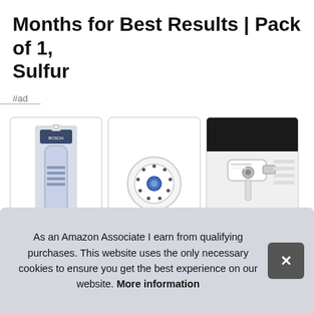Months for Best Results | Pack of 1, Sulfur
#ad
[Figure (photo): Three product images in bordered boxes: left shows a water filter in packaging, center shows a circular white filter end-cap, right shows an installed filter in a refrigerator.]
Gen
prov
filte
repl
As an Amazon Associate I earn from qualifying purchases. This website uses the only necessary cookies to ensure you get the best experience on our website. More information